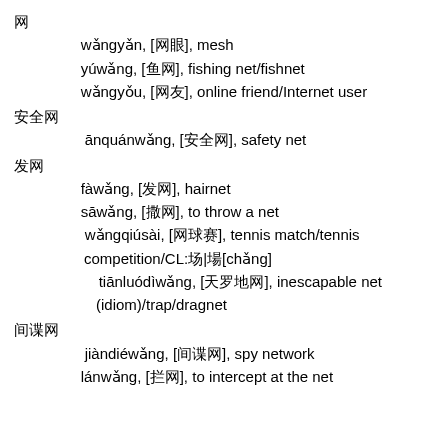网
网眼　wǎngyǎn, [网眼], mesh
鱼网　yúwǎng, [鱼网], fishing net/fishnet
网友　wǎngyǒu, [网友], online friend/Internet user
安全网
安全网　ānquánwǎng, [安全网], safety net
发网
发网　fàwǎng, [发网], hairnet
撒网　sāwǎng, [撒网], to throw a net
网球赛　wǎngqiúsài, [网球赛], tennis match/tennis competition/CL:场|場[chǎng]
天罗地网　tiānluódìwǎng, [天罗地网], inescapable net (idiom)/trap/dragnet
间谍网
间谍网　jiàndiéwǎng, [间谍网], spy network
拦网　lánwǎng, [拦网], to intercept at the net